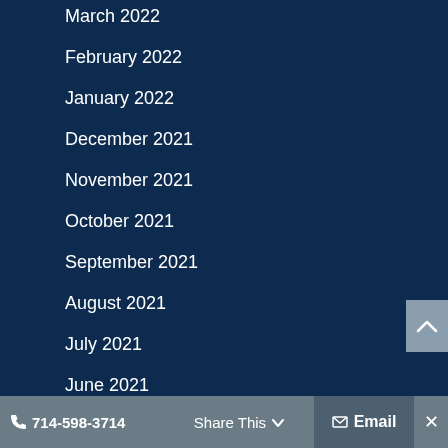March 2022
February 2022
January 2022
December 2021
November 2021
October 2021
September 2021
August 2021
July 2021
June 2021
May 2021
April 2021
January 2015
📞 714-598-3714   Share This   ✉ Email   ✕